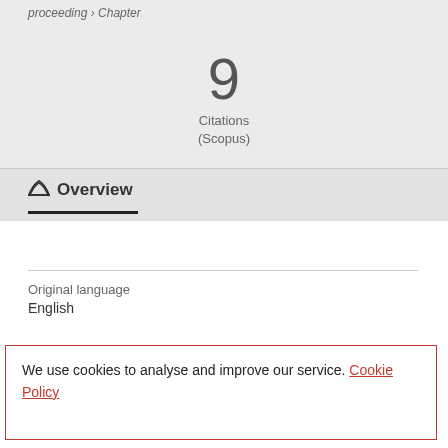proceeding › Chapter
9
Citations
(Scopus)
Overview
Original language
English
We use cookies to analyse and improve our service. Cookie Policy